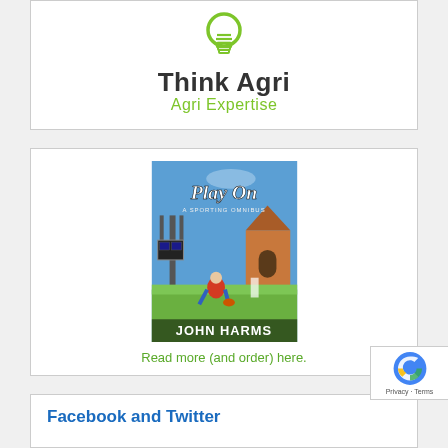[Figure (logo): Think Agri logo with green lightbulb icon, bold dark text 'Think Agri' and green subtitle 'Agri Expertise']
[Figure (illustration): Book cover for 'Play On: A Sporting Omnibus' by John Harms, showing a youth playing Australian football on a country oval with a church in the background]
Read more (and order) here.
Facebook and Twitter